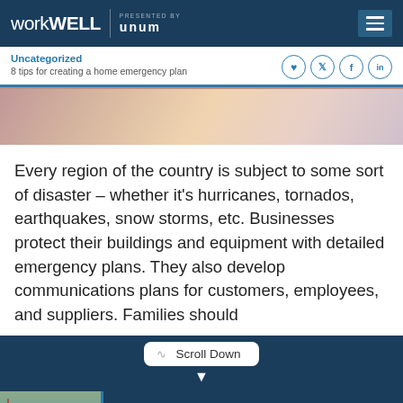workWELL presented by unum
Uncategorized
8 tips for creating a home emergency plan
[Figure (photo): Partial hero image showing colorful objects on a table, cropped at top of frame]
Every region of the country is subject to some sort of disaster – whether it's hurricanes, tornados, earthquakes, snow storms, etc. Businesses protect their buildings and equipment with detailed emergency plans. They also develop communications plans for customers, employees, and suppliers. Families should
Scroll Down
Up Next: Uncategorized
Veterans offered free dental care
[Figure (photo): Thumbnail photo of an elderly man with an American flag in the background]